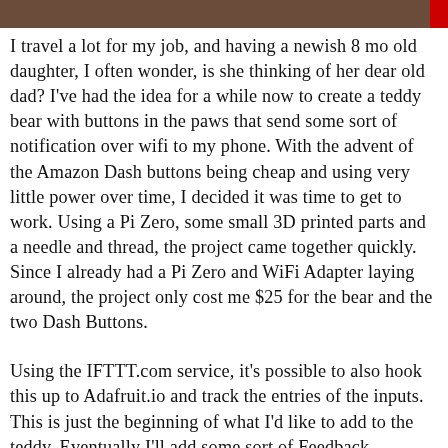[Figure (photo): Partial image of a teddy bear or similar subject, cropped at the top of the page]
I travel a lot for my job, and having a newish 8 mo old daughter, I often wonder, is she thinking of her dear old dad? I've had the idea for a while now to create a teddy bear with buttons in the paws that send some sort of notification over wifi to my phone. With the advent of the Amazon Dash buttons being cheap and using very little power over time, I decided it was time to get to work. Using a Pi Zero, some small 3D printed parts and a needle and thread, the project came together quickly. Since I already had a Pi Zero and WiFi Adapter laying around, the project only cost me $25 for the bear and the two Dash Buttons.
Using the IFTTT.com service, it's possible to also hook this up to Adafruit.io and track the entries of the inputs. This is just the beginning of what I'd like to add to the teddy. Eventually I'll add some sort of Feedback mechanism so that I can send an indicator back to show that I've received, as for right now, I'll just smile and know that she's playing with the bear.